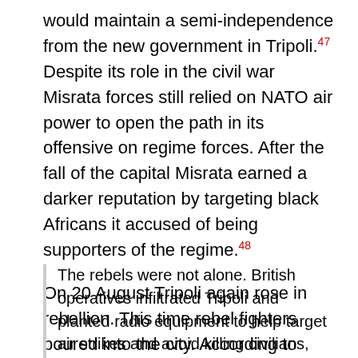would maintain a semi-independence from the new government in Tripoli.47 Despite its role in the civil war Misrata forces still relied on NATO air power to open the path in its offensive on regime forces. After the fall of the capital Misrata earned a darker reputation by targeting black Africans it accused of being supporters of the regime.48
On 20 August Tripoli again rose in rebellion. This time rebel fighters poured into the city. According to Reuters news agency foreign special forces played a key role in the battle for the city:
The rebels were not alone. British operatives infiltrated Tripoli and planted radio equipment to help target air strikes and avoid killing civilians, according to US and allied sources. The French supplied training and transport for new weapons. Washington helped at a critical late point by adding two extra